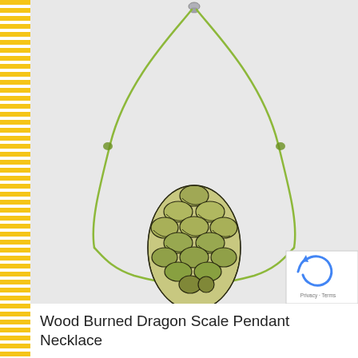[Figure (photo): A wood burned dragon scale pendant necklace with a green cord/string. The pendant is oval/leaf-shaped with intricate dragon scale pattern burned into wood, colored in green and tan tones. The green adjustable cord forms a loop around the neck with a sliding knot above the pendant. A small silver clasp is visible at the top. A reCAPTCHA badge appears in the bottom-right corner of the image.]
Wood Burned Dragon Scale Pendant Necklace